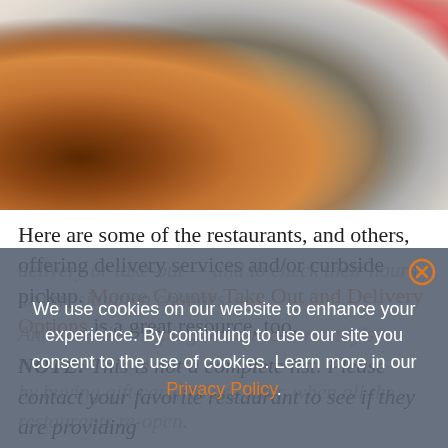[Figure (photo): Overhead photo of restaurant food dishes including braised meat in a clay bowl, stuffed grape leaves on a white plate with lemon, and a hand holding a wine glass in the background]
Here are some of the restaurants, and others, offering delivery services and/or curbside pickup. Moore County Take Out and Delivery Options is a great resource, too.
NOTE: This is not a complete list. Please contact your favorite restaurant to see if they are providing delivery or take-out — and to check their hours as this situation changes.
And consider helping out our community's restaurants by buying gift cards to use later, when all the restaurants re-open.
We use cookies on our website to enhance your experience. By continuing to use our site you consent to the use of cookies. Learn more in our Privacy Policy.